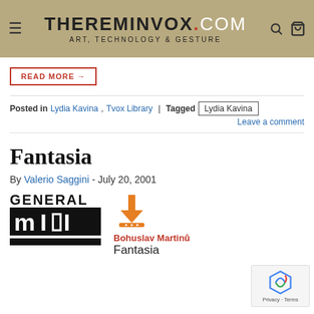THEREMINVOX.COM — Art, Technology & Gesture
READ MORE →
Posted in Lydia Kavina, Tvox Library | Tagged Lydia Kavina
Leave a comment
Fantasia
By Valerio Saggini - July 20, 2001
[Figure (logo): General MIDI logo in black and white]
[Figure (other): Orange download icon with Bohuslav Martinů Fantasia label]
[Figure (other): reCAPTCHA widget with Privacy - Terms text]